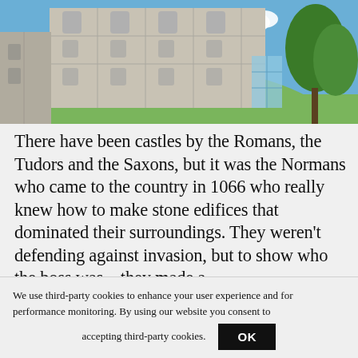[Figure (photo): Photograph of a Norman castle (Norwich Castle) with a large stone keep on a mound, blue sky with a cloud, green grass slope, and trees to the right with a modern glass structure visible at the base.]
There have been castles by the Romans, the Tudors and the Saxons, but it was the Normans who came to the country in 1066 who really knew how to make stone edifices that dominated their surroundings. They weren't defending against invasion, but to show who the boss was – they made a statement of power at Norwich Castle
We use third-party cookies to enhance your user experience and for performance monitoring. By using our website you consent to accepting third-party cookies.
OK